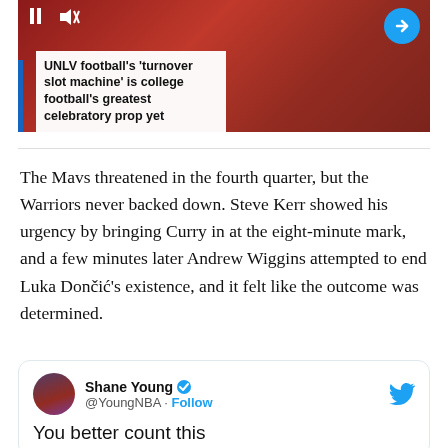[Figure (screenshot): Thumbnail image for a sports video article about UNLV football's turnover slot machine with a blue left border accent and arrow navigation button]
UNLV football’s ‘turnover slot machine’ is college football’s greatest celebratory prop yet
The Mavs threatened in the fourth quarter, but the Warriors never backed down. Steve Kerr showed his urgency by bringing Curry in at the eight-minute mark, and a few minutes later Andrew Wiggins attempted to end Luka Dončić’s existence, and it felt like the outcome was determined.
[Figure (screenshot): Embedded tweet from Shane Young (@YoungNBA) with Follow button and Twitter bird logo. Tweet text begins: You better count this]
You better count this